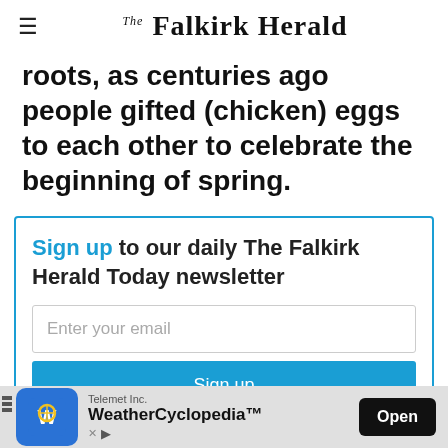The Falkirk Herald
roots, as centuries ago people gifted (chicken) eggs to each other to celebrate the beginning of spring.
Sign up to our daily The Falkirk Herald Today newsletter
Enter your email
Sign up
This site is protected by reCAPTCHA and the Google Privacy Notice and Terms of Service apply.
[Figure (screenshot): WeatherCyclopedia advertisement banner by Telemet Inc. with an Open button]